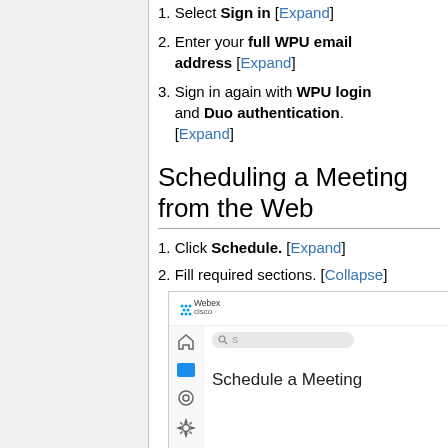1. Select Sign in [Expand]
2. Enter your full WPU email address [Expand]
3. Sign in again with WPU login and Duo authentication. [Expand]
Scheduling a Meeting from the Web
1. Click Schedule. [Expand]
2. Fill required sections. [Collapse]
[Figure (screenshot): Cisco Webex web interface showing the Schedule a Meeting page with navigation sidebar icons and a search bar.]